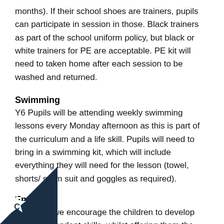months). If their school shoes are trainers, pupils can participate in session in those. Black trainers as part of the school uniform policy, but black or white trainers for PE are acceptable. PE kit will need to taken home after each session to be washed and returned.
Swimming
Y6 Pupils will be attending weekly swimming lessons every Monday afternoon as this is part of the curriculum and a life skill. Pupils will need to bring in a swimming kit, which will include everything they will need for the lesson (towel, shorts/ swim suit and goggles as required).
English
In Year 6, we encourage the children to develop their independent skills, whilst offering them the support they